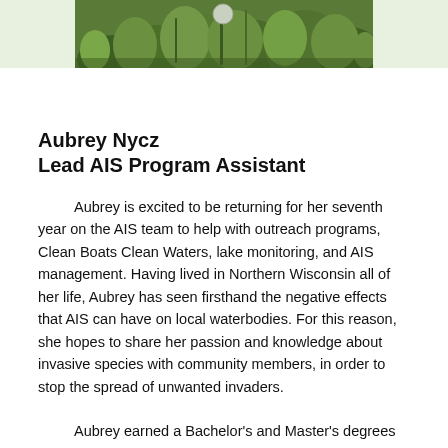[Figure (photo): Partial view of a garden or natural area with green plants and foliage, cropped at the top of the page.]
Aubrey Nycz
Lead AIS Program Assistant
Aubrey is excited to be returning for her seventh year on the AIS team to help with outreach programs, Clean Boats Clean Waters, lake monitoring, and AIS management. Having lived in Northern Wisconsin all of her life, Aubrey has seen firsthand the negative effects that AIS can have on local waterbodies. For this reason, she hopes to share her passion and knowledge about invasive species with community members, in order to stop the spread of unwanted invaders.
Aubrey earned a Bachelor's and Master's degrees from the University of Wisconsin – Stevens Point in Elementary Education.